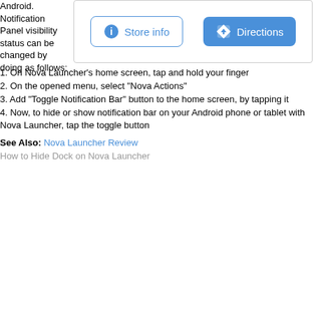Android. Notification Panel visibility status can be changed by doing as follows:
[Figure (screenshot): UI widget showing two buttons: 'Store info' (outlined blue button with info icon) and 'Directions' (filled blue button with navigation icon)]
1. On Nova Launcher's home screen, tap and hold your finger
2. On the opened menu, select "Nova Actions"
3. Add "Toggle Notification Bar" button to the home screen, by tapping it
4. Now, to hide or show notification bar on your Android phone or tablet with Nova Launcher, tap the toggle button
See Also: Nova Launcher Review
How to Hide Dock on Nova Launcher